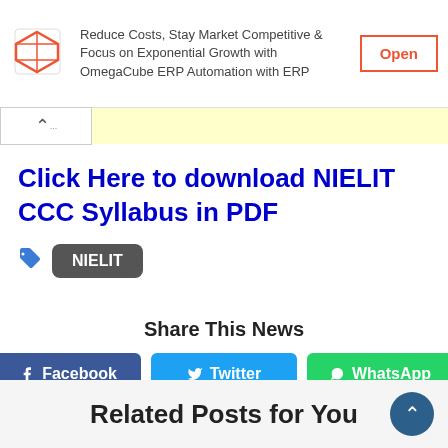[Figure (screenshot): OmegaCube ERP advertisement banner with logo, text, and Open button]
Click Here to download NIELIT CCC Syllabus in PDF
NIELIT
Share This News
[Figure (infographic): Share buttons: Facebook, Twitter, WhatsApp]
Related Posts for You